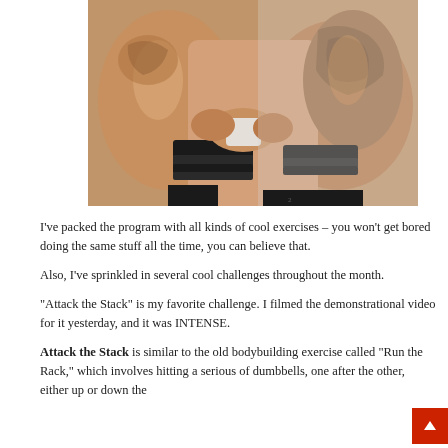[Figure (photo): Close-up photo of a heavily muscular, tattooed man wrapping his wrists with black straps/wraps before a workout, shirtless, outdoors.]
I've packed the program with all kinds of cool exercises – you won't get bored doing the same stuff all the time, you can believe that.
Also, I've sprinkled in several cool challenges throughout the month.
"Attack the Stack" is my favorite challenge. I filmed the demonstrational video for it yesterday, and it was INTENSE.
Attack the Stack is similar to the old bodybuilding exercise called "Run the Rack," which involves hitting a serious of dumbbells, one after the other, either up or down the